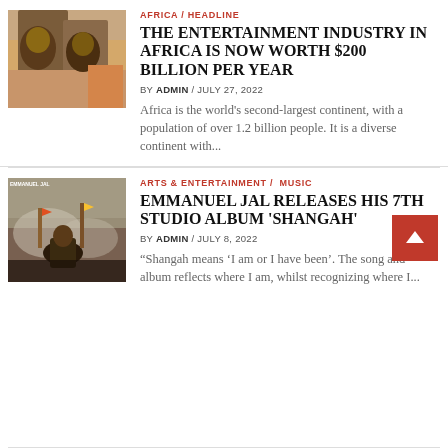[Figure (photo): Two people talking in a room with a couch]
AFRICA / HEADLINE
THE ENTERTAINMENT INDUSTRY IN AFRICA IS NOW WORTH $200 BILLION PER YEAR
BY ADMIN / JULY 27, 2022
Africa is the world's second-largest continent, with a population of over 1.2 billion people. It is a diverse continent with...
[Figure (photo): Emmanuel Jal performing at an event with smoke and crowd]
ARTS & ENTERTAINMENT / MUSIC
EMMANUEL JAL RELEASES HIS 7TH STUDIO ALBUM 'SHANGAH'
BY ADMIN / JULY 8, 2022
“Shangah means ‘I am or I have been’. The song and album reflects where I am, whilst recognizing where I...